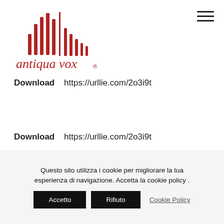[Figure (logo): Antiqua Vox logo with red bar chart waveform graphic and italic red text 'antiqua vox ®']
[Figure (other): Hamburger menu icon (three horizontal black lines) in top-right corner]
Download    https://urllie.com/2o3i9t
Download    https://urllie.com/2o3i9t
Questo sito utilizza i cookie per migliorare la tua esperienza di navigazione. Accetta la cookie policy .
Accetto
Rifiuto
Cookie Policy